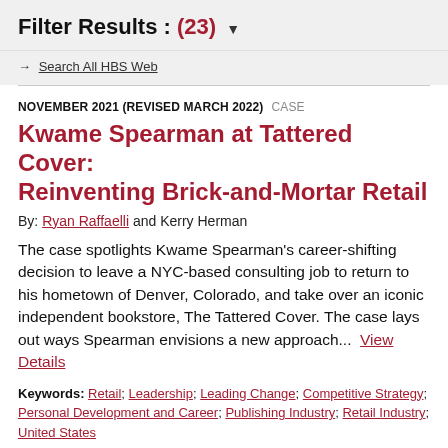Filter Results : (23) ▼
→ Search All HBS Web
NOVEMBER 2021 (REVISED MARCH 2022)   CASE
Kwame Spearman at Tattered Cover: Reinventing Brick-and-Mortar Retail
By: Ryan Raffaelli and Kerry Herman
The case spotlights Kwame Spearman's career-shifting decision to leave a NYC-based consulting job to return to his hometown of Denver, Colorado, and take over an iconic independent bookstore, The Tattered Cover. The case lays out ways Spearman envisions a new approach... View Details
Keywords: Retail; Leadership; Leading Change; Competitive Strategy; Personal Development and Career; Publishing Industry; Retail Industry; United States